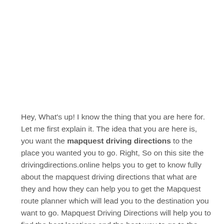Hey, What's up! I know the thing that you are here for. Let me first explain it. The idea that you are here is, you want the mapquest driving directions to the place you wanted you to go. Right, So on this site the drivingdirections.online helps you to get to know fully about the mapquest driving directions that what are they and how they can help you to get the Mapquest route planner which will lead you to the destination you want to go. Mapquest Driving Directions will help you to find the best locations and the best way to go to the place where you want to go. It creates a type of line on the map provided below and shows you that on this